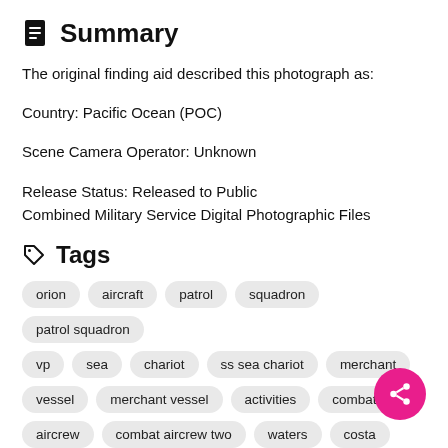Summary
The original finding aid described this photograph as:
Country: Pacific Ocean (POC)
Scene Camera Operator: Unknown
Release Status: Released to Public
Combined Military Service Digital Photographic Files
Tags
orion
aircraft
patrol
squadron
patrol squadron
vp
sea
chariot
ss sea chariot
merchant
vessel
merchant vessel
activities
combat
aircrew
combat aircrew two
waters
costa
costa rica
ship
pounds
cooping
personnel